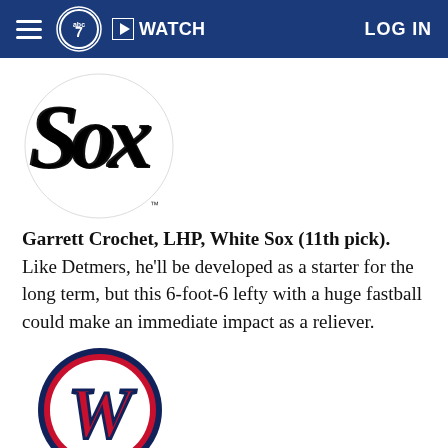ABC7 | WATCH | LOG IN
[Figure (logo): Chicago White Sox logo - black ornate 'Sox' script lettering]
Garrett Crochet, LHP, White Sox (11th pick). Like Detmers, he'll be developed as a starter for the long term, but this 6-foot-6 lefty with a huge fastball could make an immediate impact as a reliever.
[Figure (logo): Washington Nationals logo - red cursive 'W' with navy outline]